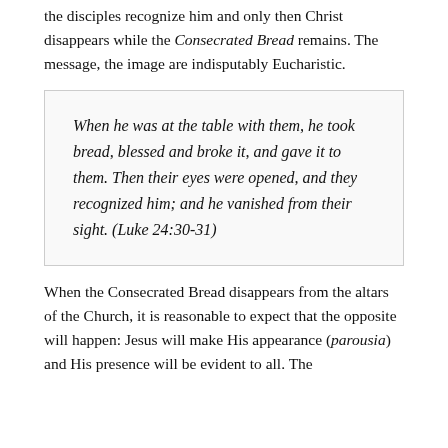the disciples recognize him and only then Christ disappears while the Consecrated Bread remains. The message, the image are indisputably Eucharistic.
When he was at the table with them, he took bread, blessed and broke it, and gave it to them. Then their eyes were opened, and they recognized him; and he vanished from their sight. (Luke 24:30-31)
When the Consecrated Bread disappears from the altars of the Church, it is reasonable to expect that the opposite will happen: Jesus will make His appearance (parousia) and His presence will be evident to all. The